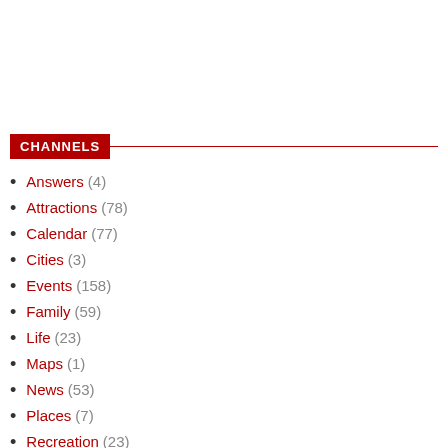CHANNELS
Answers (4)
Attractions (78)
Calendar (77)
Cities (3)
Events (158)
Family (59)
Life (23)
Maps (1)
News (53)
Places (7)
Recreation (23)